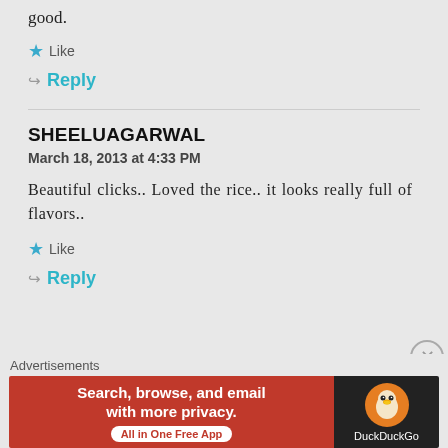good.
★ Like
↪ Reply
SHEELUAGARWAL
March 18, 2013 at 4:33 PM
Beautiful clicks.. Loved the rice.. it looks really full of flavors..
★ Like
↪ Reply
[Figure (other): DuckDuckGo advertisement banner: Search, browse, and email with more privacy. All in One Free App.]